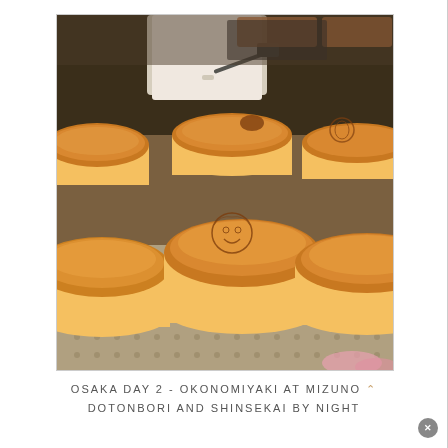[Figure (photo): Japanese soufflé cheesecakes on a metal cooling rack being stamped with a branding iron. A person in white chef attire is visible pressing a hot iron stamp onto the top of one of the large, fluffy, round cheesecakes. Several cheesecakes are visible with golden-brown tops.]
OSAKA DAY 2 - OKONOMIYAKI AT MIZUNO ^ DOTONBORI AND SHINSEKAI BY NIGHT